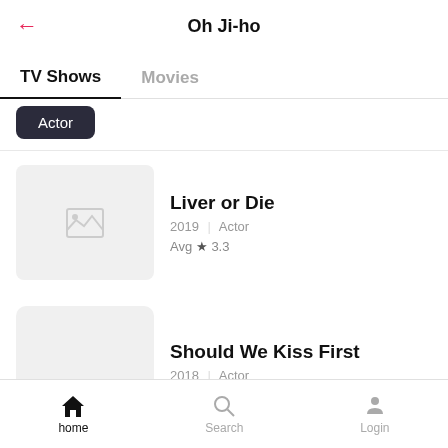Oh Ji-ho
TV Shows | Movies
Actor
Liver or Die
2019 | Actor
Avg ★ 3.3
Should We Kiss First
2018 | Actor
Avg ★ 3.1
home | Search | Login